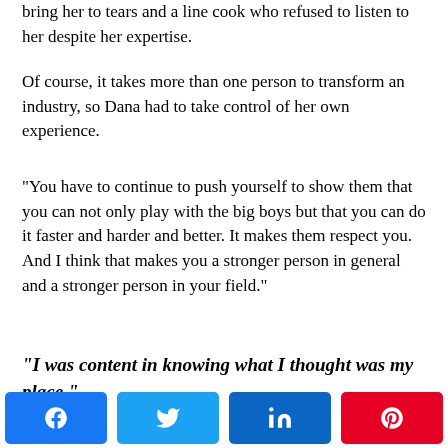bring her to tears and a line cook who refused to listen to her despite her expertise.
Of course, it takes more than one person to transform an industry, so Dana had to take control of her own experience.
“You have to continue to push yourself to show them that you can not only play with the big boys but that you can do it faster and harder and better. It makes them respect you. And I think that makes you a stronger person in general and a stronger person in your field.”
“I was content in knowing what I thought was my place.”
[Figure (other): Social share buttons: Facebook, Twitter, LinkedIn, Pinterest]